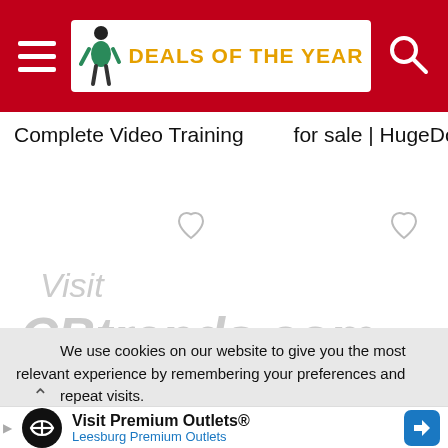[Figure (screenshot): Website header with red background, hamburger menu icon on left, 'Deals of the Year' logo in center, and search icon on right]
Complete Video Training    for sale | HugeDomains
[Figure (illustration): Two heart/favorite icons and faded watermark text reading 'Visit CBtrends.com']
Heal a Sprained Ankle FAST – Specialist...
We use cookies on our website to give you the most relevant experience by remembering your preferences and repeat visits.
Visit Premium Outlets®
Leesburg Premium Outlets